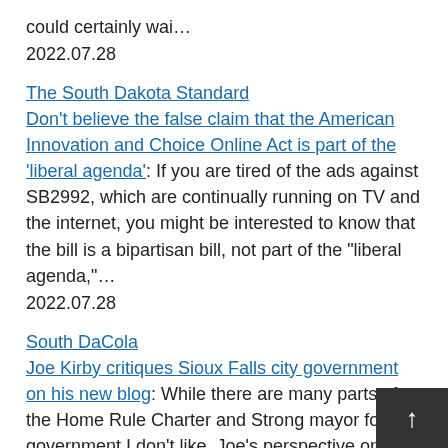could certainly wai…
2022.07.28
The South Dakota Standard
Don't believe the false claim that the American Innovation and Choice Online Act is part of the 'liberal agenda': If you are tired of the ads against SB2992, which are continually running on TV and the internet, you might be interested to know that the bill is a bipartisan bill, not part of the "liberal agenda,"…
2022.07.28
South DaCola
Joe Kirby critiques Sioux Falls city government on his new blog: While there are many parts of the Home Rule Charter and Strong mayor form of government I don't like, Joe's perspective on its current status is spot on; We intended that the city council would be a s…